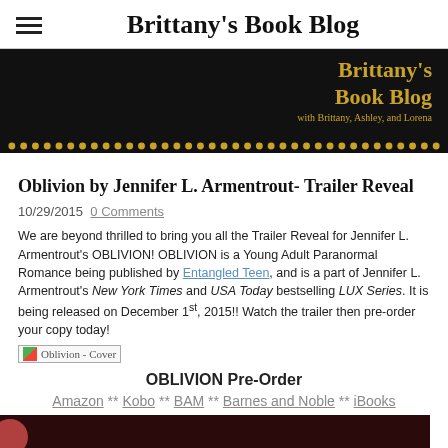Brittany's Book Blog
[Figure (illustration): Black banner with 'Brittany's Book Blog' in gold and subtitle 'with Brittany, Ashley, and Lorena'. Dotted gold border at bottom.]
Oblivion by Jennifer L. Armentrout- Trailer Reveal
10/29/2015  0 Comments
We are beyond thrilled to bring you all the Trailer Reveal for Jennifer L. Armentrout's OBLIVION! OBLIVION is a Young Adult Paranormal Romance being published by Entangled Teen, and is a part of Jennifer L. Armentrout's New York Times and USA Today bestselling LUX Series. It is being released on December 1st, 2015!! Watch the trailer then pre-order your copy today!
[Figure (illustration): Oblivion book cover image placeholder]
OBLIVION Pre-Order
Amazon ** Kobo ** BAM ** Barnes and Noble ** iBooks
[Figure (photo): Dark video thumbnail at bottom of page]